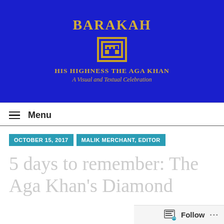[Figure (logo): BARAKAH website header banner with blue background, gold geometric logo, title 'HIS HIGHNESS THE AGA KHAN' and subtitle 'A Visual and Textual Celebration']
≡ Menu
OCTOBER 15, 2017   MALIK MERCHANT, EDITOR
5 days to remember: The Aga Khan's Diamond